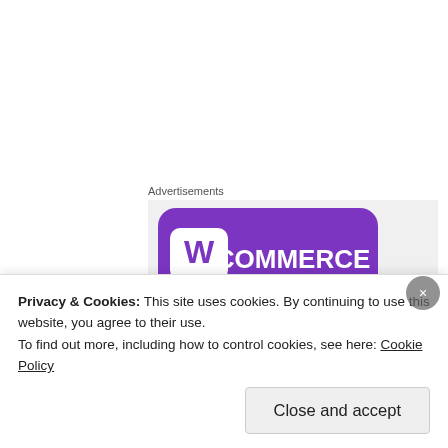Advertisements
[Figure (screenshot): WooCommerce advertisement banner showing the WooCommerce logo on a purple background with teal and blue geometric shapes, and text 'How to start selling subscriptions online']
Cute story, loved the business focus and Silver's approach to
Privacy & Cookies: This site uses cookies. By continuing to use this website, you agree to their use.
To find out more, including how to control cookies, see here: Cookie Policy
Close and accept